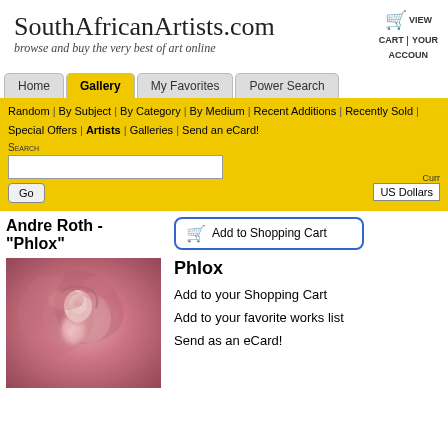SouthAfricanArtists.com — browse and buy the very best of art online
Gallery navigation: Home | Gallery | My Favorites | Power Search
Random | By Subject | By Category | By Medium | Recent Additions | Recently Sold | Special Offers | Artists | Galleries | Send an eCard!
Andre Roth - "Phlox"
[Figure (illustration): Painting titled Phlox by Andre Roth, showing a female figure with pink and red floral swirling background]
Phlox
Add to your Shopping Cart
Add to your favorite works list
Send as an eCard!